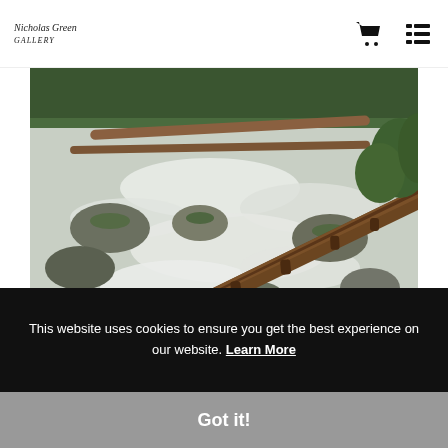Nicholas Green Photography logo, cart icon, menu icon
[Figure (photo): A nature/landscape photograph showing a rushing waterfall or fast-moving stream with white water rushing over and around large moss-covered rocks. A fallen tree trunk with broken branch stubs crosses diagonally from lower-left to upper-right in the foreground. The scene is lush with green vegetation in the background.]
This website uses cookies to ensure you get the best experience on our website. Learn More
Got it!